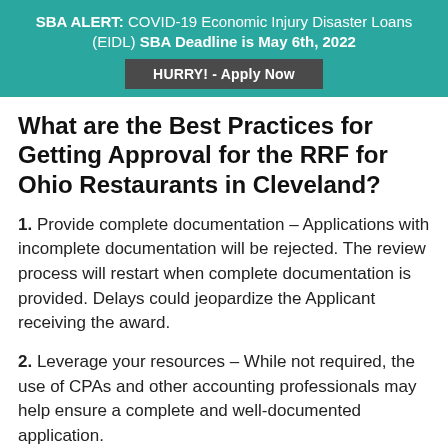SBA ALERT: COVID-19 Economic Injury Disaster Loans (EIDL) SBA Deadline is May 6th, 2022
HURRY! - Apply Now
What are the Best Practices for Getting Approval for the RRF for Ohio Restaurants in Cleveland?
1. Provide complete documentation – Applications with incomplete documentation will be rejected. The review process will restart when complete documentation is provided. Delays could jeopardize the Applicant receiving the award.
2. Leverage your resources – While not required, the use of CPAs and other accounting professionals may help ensure a complete and well-documented application.